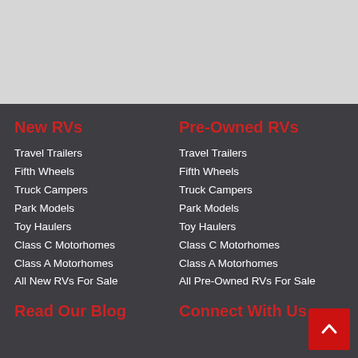[Figure (other): Gray header area at top of page]
New RVs
Travel Trailers
Fifth Wheels
Truck Campers
Park Models
Toy Haulers
Class C Motorhomes
Class A Motorhomes
All New RVs For Sale
Pre-Owned RVs
Travel Trailers
Fifth Wheels
Truck Campers
Park Models
Toy Haulers
Class C Motorhomes
Class A Motorhomes
All Pre-Owned RVs For Sale
Read Our Blog
Connect With Us